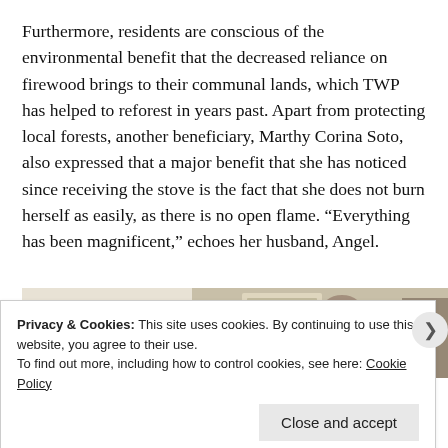Furthermore, residents are conscious of the environmental benefit that the decreased reliance on firewood brings to their communal lands, which TWP has helped to reforest in years past. Apart from protecting local forests, another beneficiary, Marthy Corina Soto, also expressed that a major benefit that she has noticed since receiving the stove is the fact that she does not burn herself as easily, as there is no open flame. “Everything has been magnificent,” echoes her husband, Angel.
[Figure (photo): Partial view of a lifestyle/cookbook photo showing food items and an open book/magazine on a light background]
Privacy & Cookies: This site uses cookies. By continuing to use this website, you agree to their use.
To find out more, including how to control cookies, see here: Cookie Policy